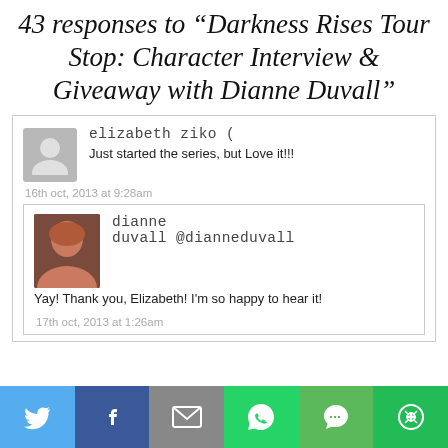43 responses to “Darkness Rises Tour Stop: Character Interview & Giveaway with Dianne Duvall”
elizabeth ziko (
Just started the series, but Love it!!!
16th oct, 2013 at 9:28am
dianne duvall @dianneduvall
Yay! Thank you, Elizabeth! I'm so happy to hear it!
17th oct, 2013 at 1:26am
[Figure (infographic): Social share bar with Twitter, Facebook, Email, WhatsApp, SMS, and More buttons]